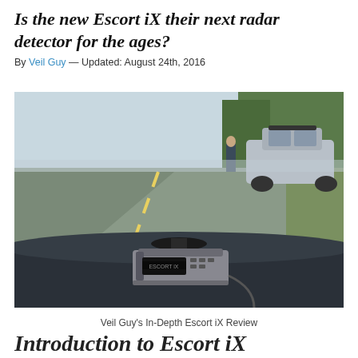Is the new Escort iX their next radar detector for the ages?
By Veil Guy — Updated: August 24th, 2016
[Figure (photo): Photo taken from inside a car showing a radar detector (Escort iX) mounted on the dashboard with a suction cup mount. Through the windshield, a highway scene is visible with a police car pulled over alongside a silver sedan on the roadside.]
Veil Guy's In-Depth Escort iX Review
Introduction to Escort iX